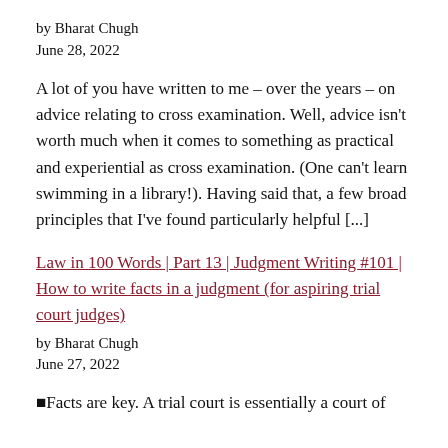by Bharat Chugh
June 28, 2022
A lot of you have written to me – over the years – on advice relating to cross examination. Well, advice isn't worth much when it comes to something as practical and experiential as cross examination. (One can't learn swimming in a library!). Having said that, a few broad principles that I've found particularly helpful [...]
Law in 100 Words | Part 13 | Judgment Writing #101 | How to write facts in a judgment (for aspiring trial court judges)
by Bharat Chugh
June 27, 2022
■Facts are key. A trial court is essentially a court of